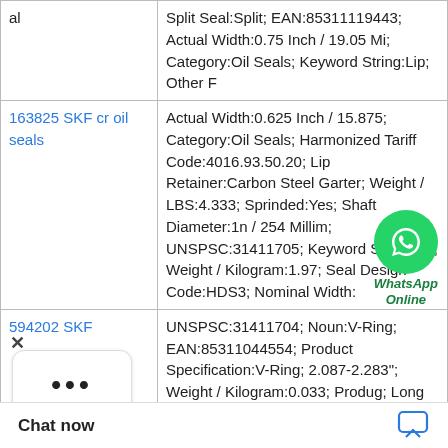| Product | Details |
| --- | --- |
| al | Split Seal:Split; EAN:85311119443; Actual Width:0.75 Inch / 19.05 Mi; Category:Oil Seals; Keyword String:Lip; Other F |
| 163825 SKF cr oil seals | Actual Width:0.625 Inch / 15.875; Category:Oil Seals; Harmonized Tariff Code:4016.93.50.20; Lip Retainer:Carbon Steel Garter; Weight / LBS:4.333; Sprinded:Yes; Shaft Diameter:1n / 254 Millim; UNSPSC:31411705; Keyword String:Lip; Weight / Kilogram:1.97; Seal Design Code:HDS3; Nominal Width: |
| 594202 SKF | UNSPSC:31411704; Noun:V-Ring; EAN:85311044554; Product Specification:V-Ring; 2.087-2.283"; Weight / Kilogram:0.033; Produ g; Long Descriptio 7-2.283"; Categor |